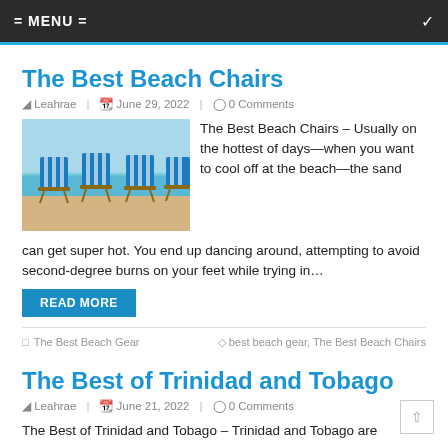= MENU =
The Best Beach Chairs
Leahrae | June 29, 2022 | 0 Comments
[Figure (photo): Three blue and white striped beach chairs on a sandy beach with ocean in the background]
The Best Beach Chairs – Usually on the hottest of days—when you want to cool off at the beach—the sand can get super hot. You end up dancing around, attempting to avoid second-degree burns on your feet while trying in…
READ MORE
The Best Beach Gear | best beach gear, The Best Beach Chairs
The Best of Trinidad and Tobago
Leahrae | June 21, 2022 | 0 Comments
The Best of Trinidad and Tobago – Trinidad and Tobago are